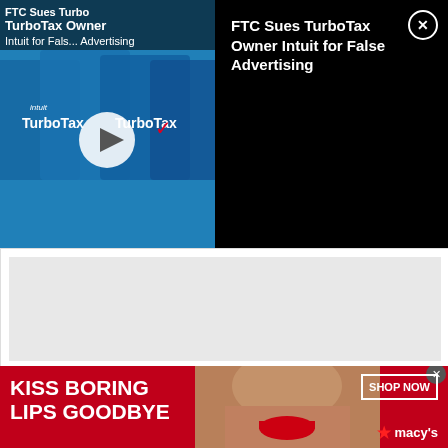[Figure (screenshot): Video thumbnail showing TurboTax boxes with blue background and play button overlay. Title overlay reads 'FTC Sues TurboTax Owner Intuit for False Advertising']
FTC Sues TurboTax Owner Intuit for False Advertising
[Figure (screenshot): Gray advertisement placeholder area]
[Figure (screenshot): Blue Share on Facebook button with Facebook logo icon]
[Figure (screenshot): Macy's advertisement banner with red background, text 'KISS BORING LIPS GOODBYE', woman's face, SHOP NOW button, and Macy's logo with star]